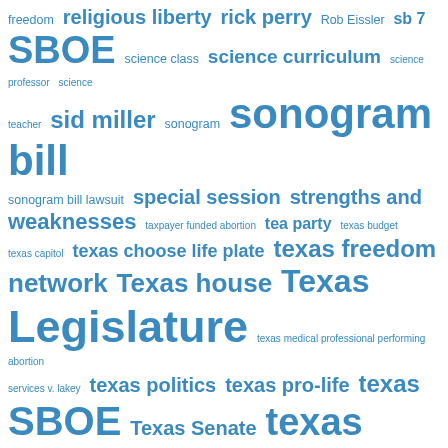[Figure (other): Word cloud with terms related to Texas politics, education, and legislation. Terms shown in varying sizes in blue, including: freedom, religious liberty, rick perry, Rob Eissler, sb 7, SBOE, science class, science curriculum, science professor, science teacher, sid miller, sonogram, sonogram bill, sonogram bill lawsuit, special session, strengths and weaknesses, taxpayer funded abortion, tea party, texas budget, texas capitol, texas choose life plate, texas freedom network, Texas house, Texas Legislature, texas medical professional performing abortion services v. lakey, texas politics, texas pro-life, texas SBOE, Texas Senate, texas social studies, texas speaker of the house, Texas]